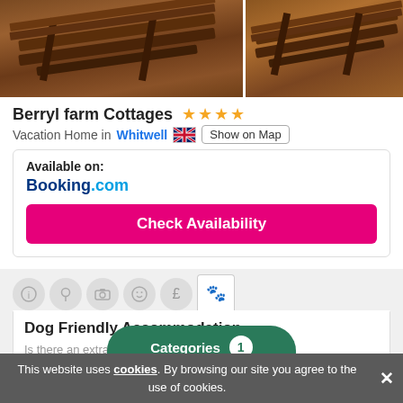[Figure (photo): Two wooden picnic benches/tables photographed outdoors, split into left and right panels]
Berryl farm Cottages ★★★★
Vacation Home in Whitwell 🇬🇧 Show on Map
Available on: Booking.com
Check Availability
Dog Friendly Accommodation
Is there an extra charge?
Free! There is no extra charge. Dogs stay for free.
Should the dog own... -in?
This website uses cookies. By browsing our site you agree to the use of cookies.